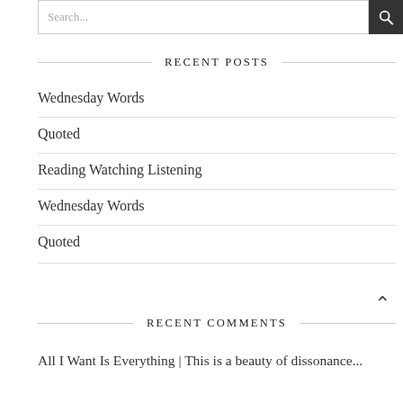Search...
RECENT POSTS
Wednesday Words
Quoted
Reading Watching Listening
Wednesday Words
Quoted
RECENT COMMENTS
All I Want Is Everything | This is a beauty of dissonance...